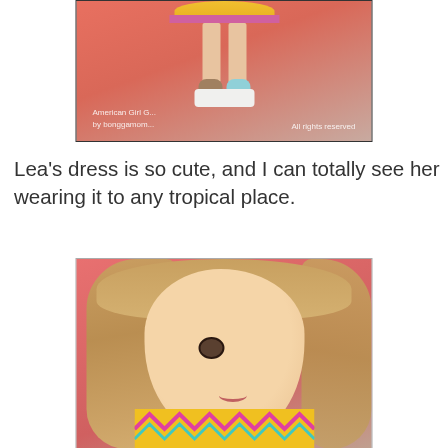[Figure (photo): Photo of an American Girl doll from the waist down, showing legs in sandals and a colorful crocheted dress with yellow and pink banding, standing on a white display stand against a pink background. Watermark reads 'American Girl G... by bonggamom... All rights reserved'.]
Lea's dress is so cute, and I can totally see her wearing it to any tropical place.
[Figure (photo): Close-up photo of an American Girl doll face (the Lea character) with long blonde/light brown hair, brown eyes, and a slight smile. She is wearing a colorful patterned dress with yellow, pink, and teal zigzag designs at the neckline. Background is pink/red.]